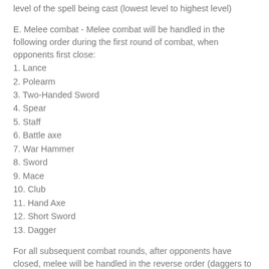D. Magic Spells - Magic Spells will be handled in the order of the level of the spell being cast (lowest level to highest level)
E. Melee combat - Melee combat will be handled in the following order during the first round of combat, when opponents first close:
1. Lance
2. Polearm
3. Two-Handed Sword
4. Spear
5. Staff
6. Battle axe
7. War Hammer
8. Sword
9. Mace
10. Club
11. Hand Axe
12. Short Sword
13. Dagger
For all subsequent combat rounds, after opponents have closed, melee will be handled in the reverse order (daggers to lances), combatants using the same weapon will go